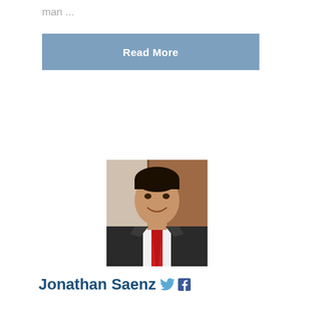man ...
Read More
[Figure (photo): Portrait photo of a man in a dark suit with a red tie, smiling, indoor background with wooden door]
Jonathan Saenz